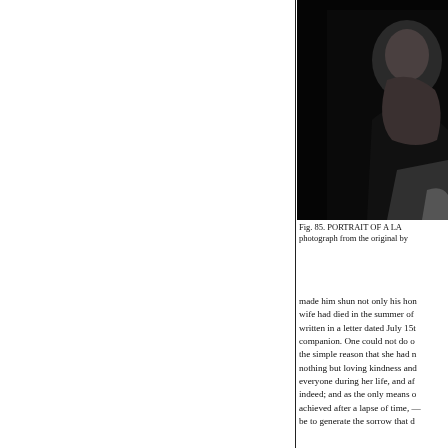[Figure (photo): Black and white portrait photograph of a lady, partially cropped, showing the right portion of the image. Dark background with figure visible in upper right area.]
Fig. 85. PORTRAIT OF A LA photograph from the original by
made him shun not only his hon wife had died in the summer of written in a letter dated July 15t companion. One could not do o the simple reason that she had n nothing but loving kindness and everyone during her life, and af indeed; and as the only means o achieved after a lapse of time, — be to generate the sorrow that d